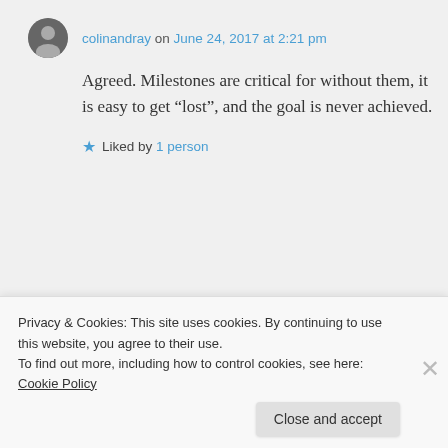colinandray on June 24, 2017 at 2:21 pm
Agreed. Milestones are critical for without them, it is easy to get “lost”, and the goal is never achieved.
★ Liked by 1 person
kumudsingh on June 24, 2017 at 2:23 pm
Privacy & Cookies: This site uses cookies. By continuing to use this website, you agree to their use. To find out more, including how to control cookies, see here: Cookie Policy
Close and accept